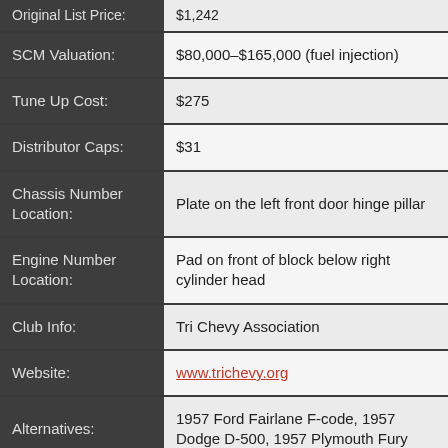| Field | Value |
| --- | --- |
| Original List Price: | $1,242 |
| SCM Valuation: | $80,000–$165,000 (fuel injection) |
| Tune Up Cost: | $275 |
| Distributor Caps: | $31 |
| Chassis Number Location: | Plate on the left front door hinge pillar |
| Engine Number Location: | Pad on front of block below right cylinder head |
| Club Info: | Tri Chevy Association |
| Website: | www.trichevy.org |
| Alternatives: | 1957 Ford Fairlane F-code, 1957 Dodge D-500, 1957 Plymouth Fury |
| Investment Grade: | A |